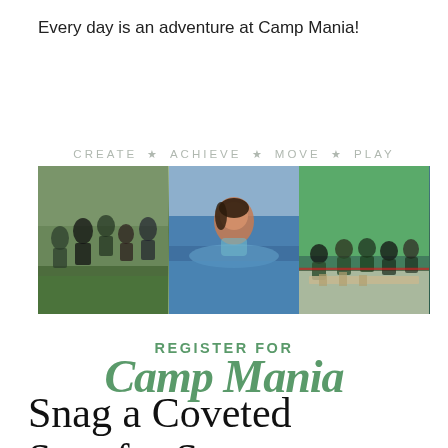Every day is an adventure at Camp Mania!
[Figure (photo): Tagline 'CREATE * ACHIEVE * MOVE * PLAY' above a three-panel photo strip showing camp children: left panel shows kids on a field with bug/insect activity, middle panel shows a girl at a swimming pool, right panel shows children sitting on a gym floor doing a group activity with building materials.]
REGISTER FOR
Camp Mania
Snag a Coveted Spot for Summer